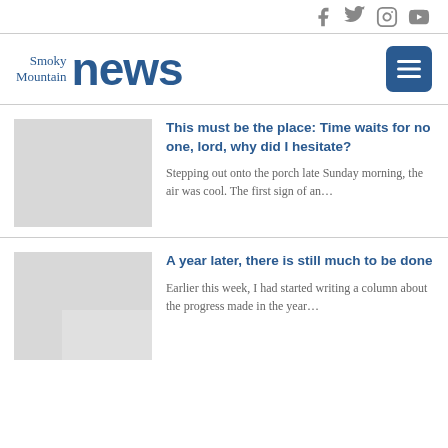Smoky Mountain News — social icons: Facebook, Twitter, Instagram, YouTube
Smoky Mountain news
This must be the place: Time waits for no one, lord, why did I hesitate?
Stepping out onto the porch late Sunday morning, the air was cool. The first sign of an…
A year later, there is still much to be done
Earlier this week, I had started writing a column about the progress made in the year…